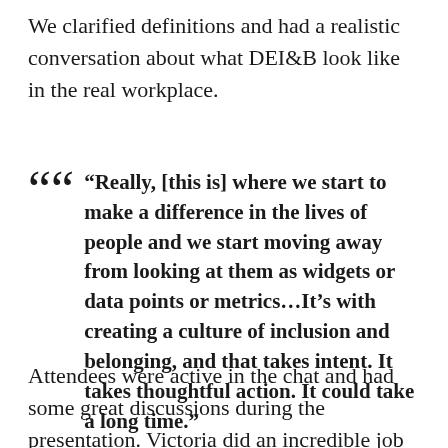We clarified definitions and had a realistic conversation about what DEI&B look like in the real workplace.
“Really, [this is] where we start to make a difference in the lives of people and we start moving away from looking at them as widgets or data points or metrics…It’s with creating a culture of inclusion and belonging, and that takes intent. It takes thoughtful action. It could take a long time.”
Attendees were active in the chat and had some great discussions during the presentation. Victoria did an incredible job of creating a safe place for people to learn and